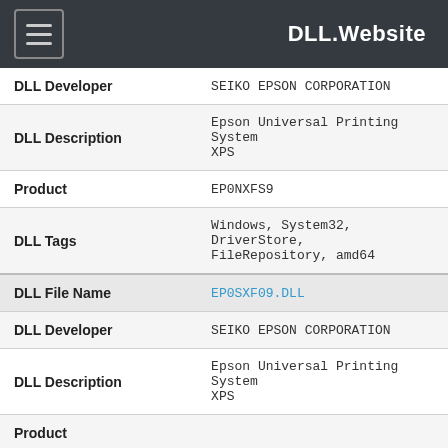DLL.Website
| Field | Value |
| --- | --- |
| DLL Developer | SEIKO EPSON CORPORATION |
| DLL Description | Epson Universal Printing System XPS |
| Product | EP0NXFS9 |
| DLL Tags | Windows, System32, DriverStore, FileRepository, amd64 |
| DLL File Name | EP0SXF09.DLL |
| DLL Developer | SEIKO EPSON CORPORATION |
| DLL Description | Epson Universal Printing System XPS |
| Product |  |